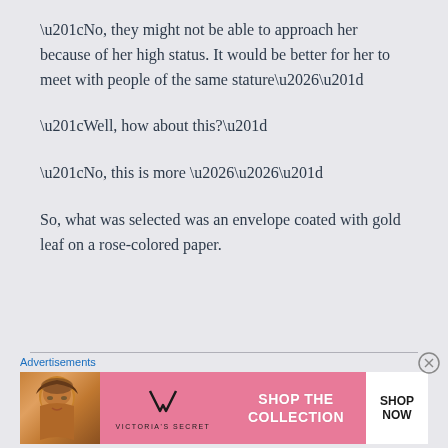“No, they might not be able to approach her because of her high status. It would be better for her to meet with people of the same stature…”
“Well, how about this?”
“No, this is more ……”
So, what was selected was an envelope coated with gold leaf on a rose-colored paper.
[Figure (other): Victoria's Secret advertisement banner showing a model, VS logo, 'SHOP THE COLLECTION' text, and 'SHOP NOW' button on a pink background]
Advertisements